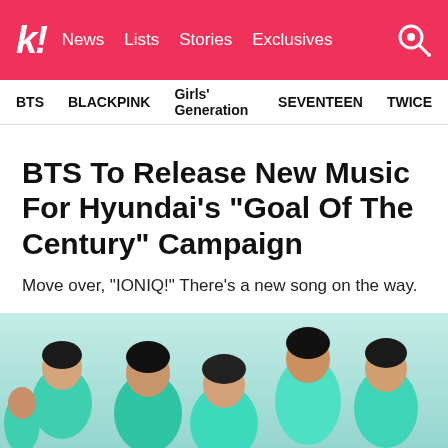K! News  Lists  Stories  Exclusives
BTS  BLACKPINK  Girls' Generation  SEVENTEEN  TWICE
BTS To Release New Music For Hyundai’s “Goal Of The Century” Campaign
Move over, “IONIQ!” There’s a new song on the way.
[Figure (photo): BTS members posing together in matching mint/green outfits against a light blue background]